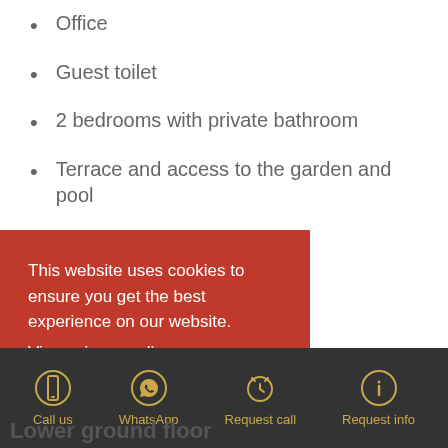Office
Guest toilet
2 bedrooms with private bathroom
Terrace and access to the garden and pool
Garage and outdoor parking
ng room and private
This website uses cookies to ensure you get the best experience on our website. View privacy policy
Accept and close
Call us | WhatsApp | Request call | Request info
Lower ground floor